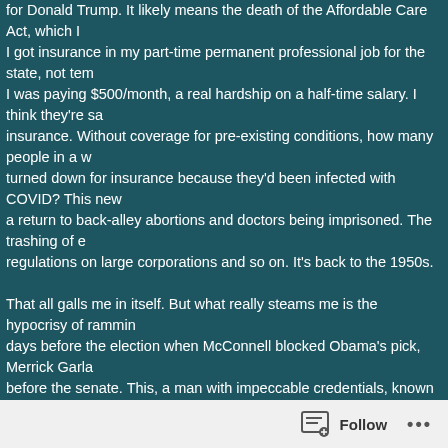for Donald Trump. It likely means the death of the Affordable Care Act, which I I got insurance in my part-time permanent professional job for the state, not tem I was paying $500/month, a real hardship on a half-time salary. I think they're sa insurance. Without coverage for pre-existing conditions, how many people in a v turned down for insurance because they'd been infected with COVID? This new a return to back-alley abortions and doctors being imprisoned. The trashing of e regulations on large corporations and so on. It's back to the 1950s.

That all galls me in itself. But what really steams me is the hypocrisy of rammin days before the election when McConnell blocked Obama's pick, Merrick Garla before the senate. This, a man with impeccable credentials, known to be even-h Court is supposed to be: the most smart and even-handed people available. Ins be pushed through.

What strikes me now is that there isn't even a show of fairness for the process, whole or respect for RBG. They know they're being hypocrites given what happ not care. This is what I've finally come to see when I would get maddened by ur Didn't evangelicals see how un-Christlike Trump's actions have been all his life? OK with his philandering and braggery about it, his lying and cheating and hatre people, the vast majority of whom are religious Catholics? It was a personal gar they know this, but they just don't care. They will accept any manner of immora is pushed through. I won't even go into the impeachment hearings and how all t Romney timidly fell in line. Where are the elected officials with a moral sense th
Follow